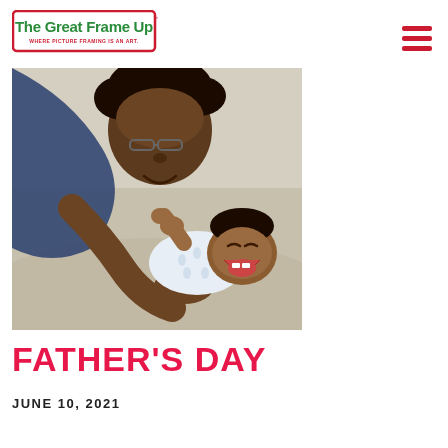[Figure (logo): The Great Frame Up logo — green and red stylized text with tagline 'WHERE PICTURE FRAMING IS AN ART.']
[Figure (photo): A father bending down and nuzzling a laughing baby on a sandy beach. The father wears glasses and a blue shirt; the baby wears a white patterned onesie.]
FATHER'S DAY
JUNE 10, 2021